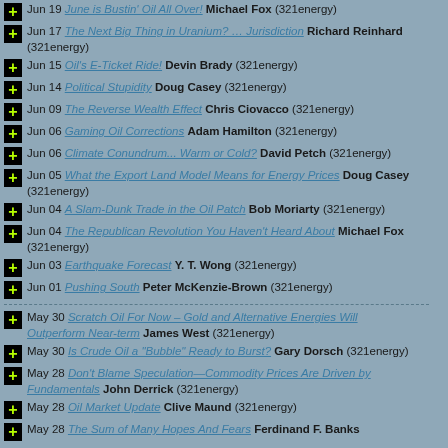Jun 19 June is Bustin' Oil All Over! Michael Fox (321energy)
Jun 17 The Next Big Thing in Uranium? ... Jurisdiction Richard Reinhard (321energy)
Jun 15 Oil's E-Ticket Ride! Devin Brady (321energy)
Jun 14 Political Stupidity Doug Casey (321energy)
Jun 09 The Reverse Wealth Effect Chris Ciovacco (321energy)
Jun 06 Gaming Oil Corrections Adam Hamilton (321energy)
Jun 06 Climate Conundrum... Warm or Cold? David Petch (321energy)
Jun 05 What the Export Land Model Means for Energy Prices Doug Casey (321energy)
Jun 04 A Slam-Dunk Trade in the Oil Patch Bob Moriarty (321energy)
Jun 04 The Republican Revolution You Haven't Heard About Michael Fox (321energy)
Jun 03 Earthquake Forecast Y. T. Wong (321energy)
Jun 01 Pushing South Peter McKenzie-Brown (321energy)
May 30 Scratch Oil For Now – Gold and Alternative Energies Will Outperform Near-term James West (321energy)
May 30 Is Crude Oil a "Bubble" Ready to Burst? Gary Dorsch (321energy)
May 28 Don't Blame Speculation—Commodity Prices Are Driven by Fundamentals John Derrick (321energy)
May 28 Oil Market Update Clive Maund (321energy)
May 28 The Sum of Many Hopes And Fears Ferdinand F. Banks